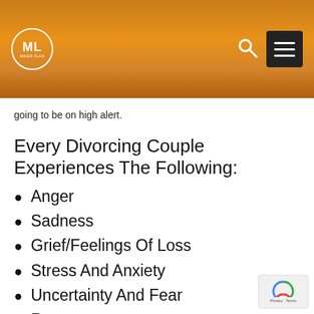ML [logo] [search icon] [menu icon]
going to be on high alert.
Every Divorcing Couple Experiences The Following:
Anger
Sadness
Grief/Feelings Of Loss
Stress And Anxiety
Uncertainty And Fear
Resentment
Mental health disorders, personality disorders, and other emotional issues affect several areas of daily life. Divorce is already an emotionally-charged process, full of so many